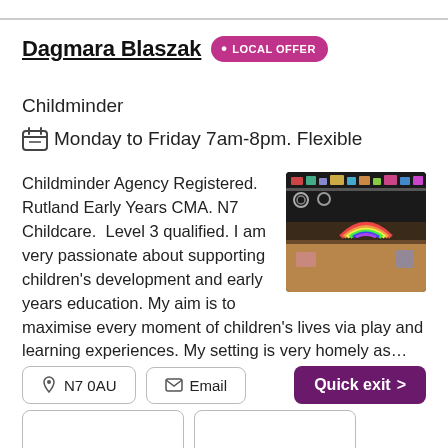Dagmara Blaszak • LOCAL OFFER
Childminder
Monday to Friday 7am-8pm. Flexible
[Figure (photo): A colourful room with toys and activities displayed on shelves and tables, including rainbows and various play items]
Childminder Agency Registered. Rutland Early Years CMA. N7 Childcare. Level 3 qualified. I am very passionate about supporting children's development and early years education. My aim is to maximise every moment of children's lives via play and learning experiences. My setting is very homely as...
N7 0AU
Email
Quick exit >